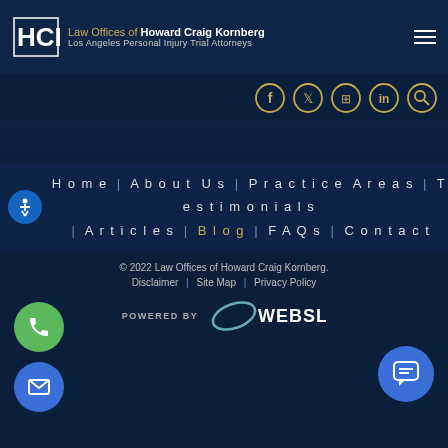Law Offices of Howard Craig Kornberg — Los Angeles Personal Injury Trial Attorneys
[Figure (logo): HCK logo with gold and white letterforms on dark navy background]
[Figure (infographic): Social media icon circles: Facebook, Twitter, Google/Phone, LinkedIn, Search — gold outlined circles on dark navy]
Home | About Us | Practice Areas | Testimonials | Articles | Blog | FAQs | Contact
© 2022 Law Offices of Howard Craig Kornberg.
Disclaimer | Site Map | Privacy Policy
[Figure (logo): POWERED BY WEBSLAW logo with orbital ring graphic]